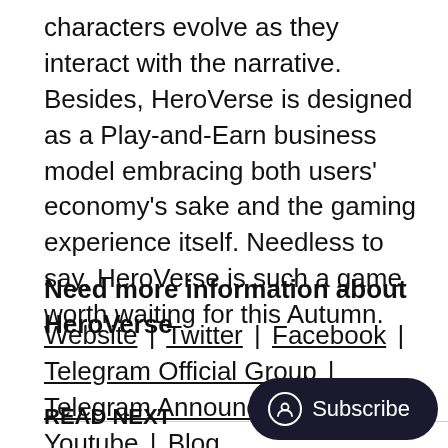characters evolve as they interact with the narrative. Besides, HeroVerse is designed as a Play-and-Earn business model embracing both users' economy's sake and the gaming experience itself. Needless to say, HeroVerse is such a game worth waiting for this Autumn.
Need more information about HeroVerse
Website | Twitter | Facebook | Telegram Official Group | Telegram Announcement | Youtube | Blog
READ NEXT